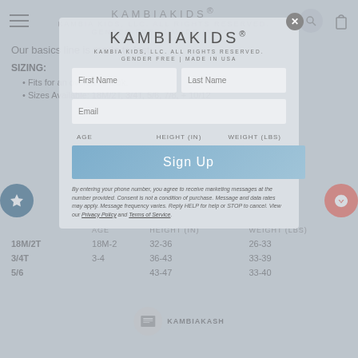KAMBIAKIDS® KAMBIA KIDS, LLC. ALL RIGHTS RESERVED. GENDER FREE | MADE IN USA
Our basics line is made to last:
SIZING:
Fits for an oversized look.
Sizes Available: 18M/2T, 3/4T, 5/6, 7/8, + 10/12
|  | AGE | HEIGHT (IN) | WEIGHT (LBS) |
| --- | --- | --- | --- |
| 18M/2T | 18M-2 | 32-36 | 26-33 |
| 3/4T | 3-4 | 36-43 | 33-39 |
| 5/6 |  | 43-47 | 33-40 |
[Figure (screenshot): Modal popup with KAMBIAKIDS® branding, First Name, Last Name, Email fields, AGE/HEIGHT/WEIGHT table headers, Sign Up button, and SMS marketing disclaimer text]
KAMBIAKASH